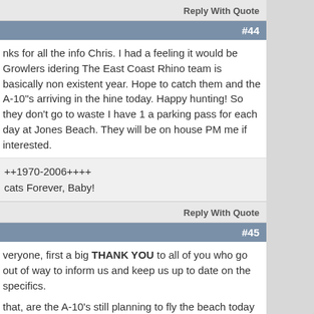Reply With Quote
#44
nks for all the info Chris. I had a feeling it would be Growlers idering The East Coast Rhino team is basically non existent year. Hope to catch them and the A-10"s arriving in the hine today. Happy hunting! So they don't go to waste I have 1 a parking pass for each day at Jones Beach. They will be on house PM me if interested.
++1970-2006++++
cats Forever, Baby!
Reply With Quote
#45
veryone, first a big THANK YOU to all of you who go out of way to inform us and keep us up to date on the specifics.
that, are the A-10's still planning to fly the beach today to get ainted? There was a post stating a 3:30-4:30 timeframe today.